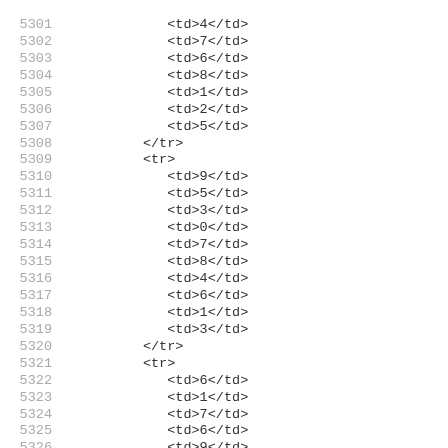Code listing showing HTML table rows with line numbers 5301-5332+, displaying td elements with single digit values and tr open/close tags